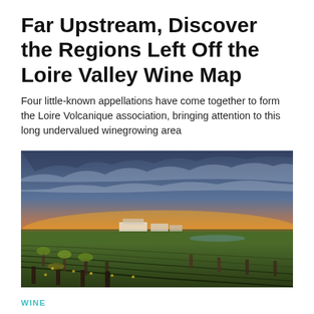Far Upstream, Discover the Regions Left Off the Loire Valley Wine Map
Four little-known appellations have come together to form the Loire Volcanique association, bringing attention to this long undervalued winegrowing area
[Figure (photo): A vineyard at sunset with rows of old grapevines in the foreground, yellow wildflowers, flat green fields and winery buildings in the mid-ground, and a dramatic sky with orange and golden sunset hues and scattered clouds.]
WINE
Why Many of California's Best-